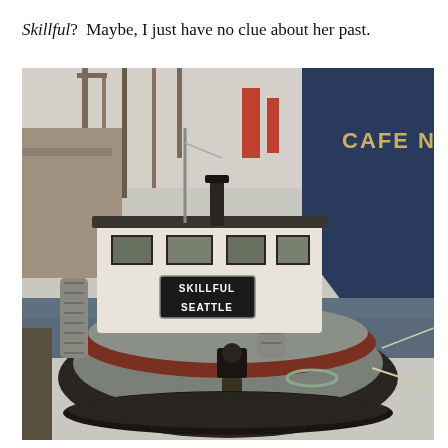Skillful?  Maybe, I just have no clue about her past.
[Figure (photo): Black and white / color photograph of the tugboat named 'SKILLFUL SEATTLE' docked at a harbor. The small tug has a white wheelhouse with black-trimmed windows, rope fenders hanging on the sides, a dark hull with red stripe, and various deck equipment including a capstan. A large dark blue vessel labeled 'CAFE NA...' is visible on the right, and industrial cranes and ships are seen in the background.]